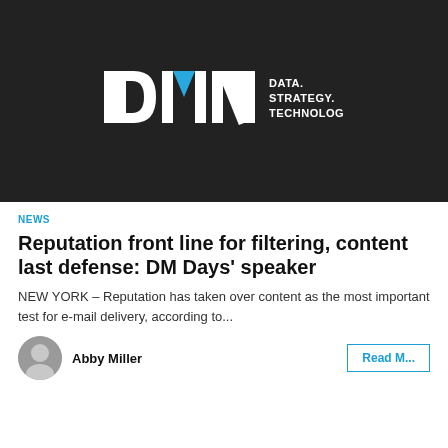[Figure (logo): DMN logo on dark background with text DATA. STRATEGY. TECHNOLOGY.]
NEWS
Reputation front line for filtering, content last defense: DM Days' speaker
NEW YORK – Reputation has taken over content as the most important test for e-mail delivery, according to...
Abby Miller